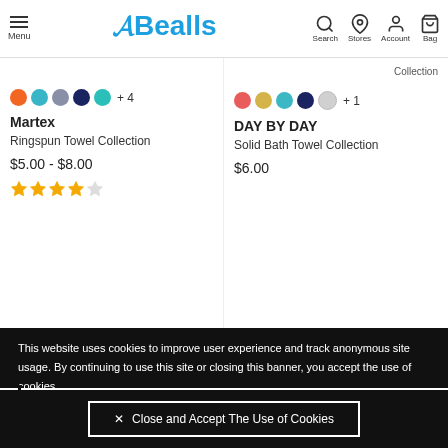Menu | Bealls | Search | Stores | Account | Bag
Collection
[Figure (other): Color swatches: orange, teal, gray, dark navy, teal — +4 options]
[Figure (other): Color swatches: coral, yellow, teal, dark navy, white — +1 option]
Martex
DAY BY DAY
Ringspun Towel Collection
Solid Bath Towel Collection
$5.00 - $8.00
$6.00
[Figure (other): Star rating: 4 out of 5 stars]
This website uses cookies to improve user experience and track anonymous site usage. By continuing to use this site or closing this banner, you accept the use of cookies. Click here to read more about how we use cookies .
✕ Close and Accept The Use of Cookies